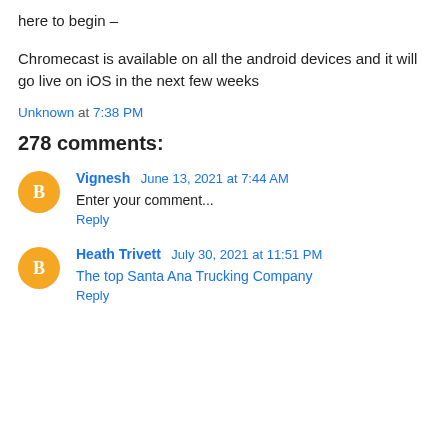here to begin –
Chromecast is available on all the android devices and it will go live on iOS in the next few weeks
Unknown at 7:38 PM
278 comments:
Vignesh June 13, 2021 at 7:44 AM
Enter your comment...
Reply
Heath Trivett July 30, 2021 at 11:51 PM
The top Santa Ana Trucking Company
Reply